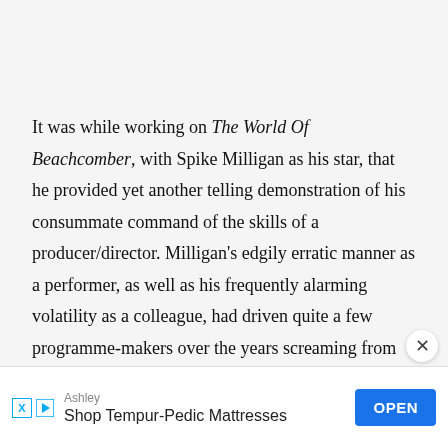It was while working on The World Of Beachcomber, with Spike Milligan as his star, that he provided yet another telling demonstration of his consummate command of the skills of a producer/director. Milligan's edgily erratic manner as a performer, as well as his frequently alarming volatility as a colleague, had driven quite a few programme-makers over the years screaming from the scene, but the always-calm and cool-headed Wood coped with him as well as anyone
[Figure (other): Advertisement banner at bottom: Ashley brand ad for Shop Tempur-Pedic Mattresses with OPEN button, X close button, and ad icons]